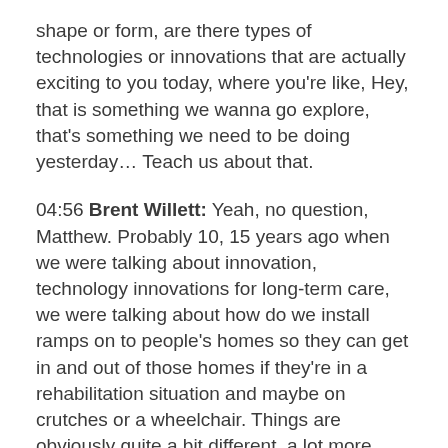shape or form, are there types of technologies or innovations that are actually exciting to you today, where you're like, Hey, that is something we wanna go explore, that's something we need to be doing yesterday… Teach us about that.
04:56 Brent Willett: Yeah, no question, Matthew. Probably 10, 15 years ago when we were talking about innovation, technology innovations for long-term care, we were talking about how do we install ramps on to people's homes so they can get in and out of those homes if they're in a rehabilitation situation and maybe on crutches or a wheelchair. Things are obviously quite a bit different, a lot more exciting now in terms of using technology to enable a better experience for folks that are going through some of the most difficult times in their life. They need long-term care. A couple of things, areas that I know my members and as a result, we are